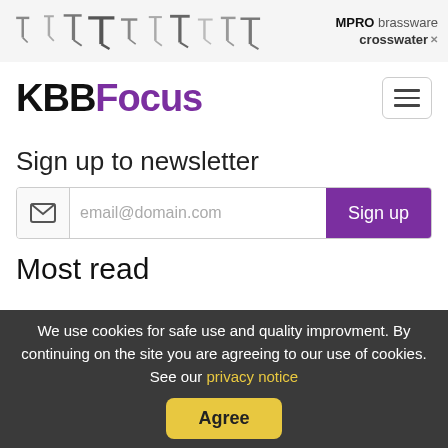[Figure (photo): Ad banner showing bathroom tap/faucet silhouettes in a row with MPRO brassware and crosswater logos on the right]
KBBFocus
Sign up to newsletter
email@domain.com  Sign up
Most read
[Figure (photo): Kitchen interior photo showing white cabinets with blurred red elements on left side and timber-look cabinet on right]
We use cookies for safe use and quality improvment. By continuing on the site you are agreeing to our use of cookies. See our privacy notice   Agree